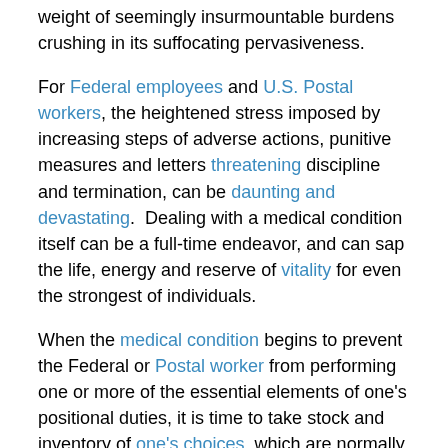weight of seemingly insurmountable burdens crushing in its suffocating pervasiveness.
For Federal employees and U.S. Postal workers, the heightened stress imposed by increasing steps of adverse actions, punitive measures and letters threatening discipline and termination, can be daunting and devastating.  Dealing with a medical condition itself can be a full-time endeavor, and can sap the life, energy and reserve of vitality for even the strongest of individuals.
When the medical condition begins to prevent the Federal or Postal worker from performing one or more of the essential elements of one's positional duties, it is time to take stock and inventory of one's choices, which are normally limited to three:
(A)  Stay with the agency or the U.S. Postal Service, and